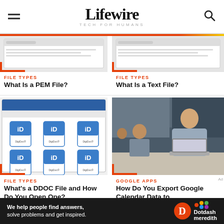Lifewire TECH FOR HUMANS
[Figure (screenshot): Lifewire website screenshot — article thumbnail for 'What Is a PEM File?' showing browser window]
FILE TYPES
What Is a PEM File?
[Figure (screenshot): Lifewire website screenshot — article thumbnail for 'What Is a Text File?' showing browser window]
FILE TYPES
What Is a Text File?
[Figure (screenshot): Screenshot of multiple DigiDoc ID file icons in Windows Explorer]
FILE TYPES
What's a DDOC File and How Do You Open One?
[Figure (photo): Photo of a young Asian man in an office working on a laptop, with colleagues in background]
GOOGLE APPS
How Do You Export Google Calendar Data to
We help people find answers, solve problems and get inspired. Dotdash meredith